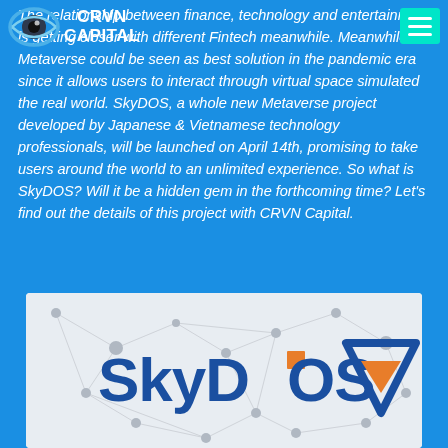[Figure (logo): CRVN Capital logo: an eye icon with the text CRVN CAPITAL]
The relationship between finance, technology and entertainment is getting closer with different Fintech meanwhile. Meanwhile, Metaverse could be seen as best solution in the pandemic era since it allows users to interact through virtual space simulated the real world. SkyDOS, a whole new Metaverse project developed by Japanese & Vietnamese technology professionals, will be launched on April 14th, promising to take users around the world to an unlimited experience. So what is SkyDOS? Will it be a hidden gem in the forthcoming time? Let's find out the details of this project with CRVN Capital.
[Figure (logo): SkyDOS logo on a white/grey network polygon background with the SkyDOS wordmark in blue and orange, and a downward-pointing triangle logo in blue and orange on the right]